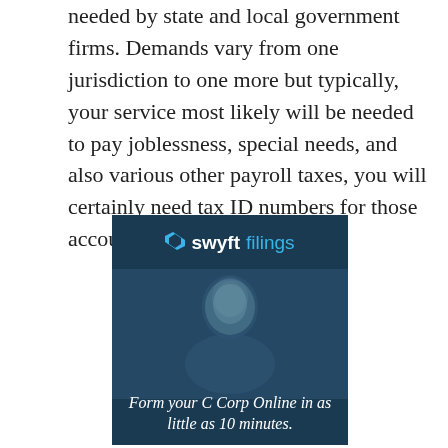needed by state and local government firms. Demands vary from one jurisdiction to one more but typically, your service most likely will be needed to pay joblessness, special needs, and also various other payroll taxes, you will certainly need tax ID numbers for those accounts along with your EIN.
[Figure (advertisement): Swyft Filings advertisement banner with logo at top on dark blue background, a man's portrait photo in the middle, and text overlay reading 'Form your C Corp Online in as little as 10 minutes.']